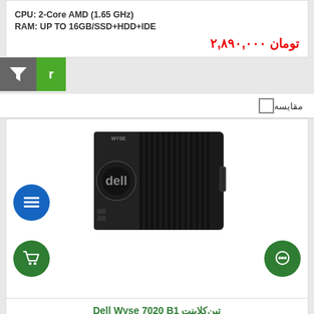CPU: 2-Core AMD (1.65 GHz)
RAM: UP TO 16GB/SSD+HDD+IDE
۲,۸۹۰,۰۰۰ تومان
مقایسه
[Figure (photo): Dell Wyse 7020 B1 thin client computer - black box-shaped mini PC]
تین‌کلاینت Dell Wyse 7020 B1
ore AMD (1.5 GHz)
RAM: UP TO 16GB / SSD+HDD